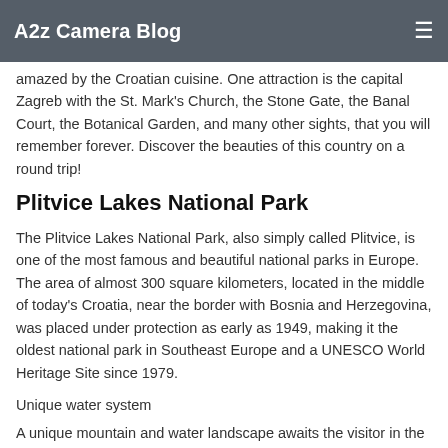A2z Camera Blog
amazed by the Croatian cuisine. One attraction is the capital Zagreb with the St. Mark's Church, the Stone Gate, the Banal Court, the Botanical Garden, and many other sights, that you will remember forever. Discover the beauties of this country on a round trip!
Plitvice Lakes National Park
The Plitvice Lakes National Park, also simply called Plitvice, is one of the most famous and beautiful national parks in Europe. The area of almost 300 square kilometers, located in the middle of today's Croatia, near the border with Bosnia and Herzegovina, was placed under protection as early as 1949, making it the oldest national park in Southeast Europe and a UNESCO World Heritage Site since 1979.
Unique water system
A unique mountain and water landscape awaits the visitor in the Plitvice Lakes National Park: Several smaller rivers and countless